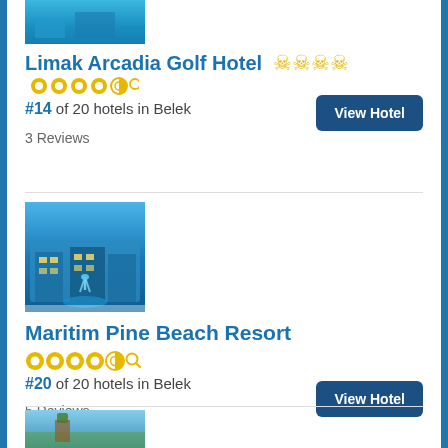[Figure (photo): Top partial image of a hotel/resort with blue water, cropped at top of page]
Limak Arcadia Golf Hotel ★★★★½
#14 of 20 hotels in Belek
3 Reviews
View Hotel
[Figure (photo): Hotel building at night with illuminated fountain in front, modern architecture]
Maritim Pine Beach Resort
★★★★½
#20 of 20 hotels in Belek
5 Reviews
View Hotel
[Figure (photo): Partial photo of another hotel/resort at bottom of page, cropped]